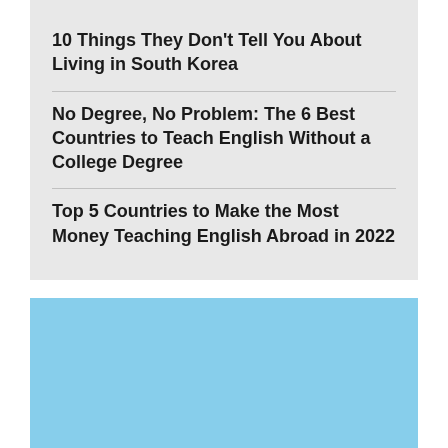10 Things They Don't Tell You About Living in South Korea
No Degree, No Problem: The 6 Best Countries to Teach English Without a College Degree
Top 5 Countries to Make the Most Money Teaching English Abroad in 2022
[Figure (other): A solid light blue rectangle placeholder image]